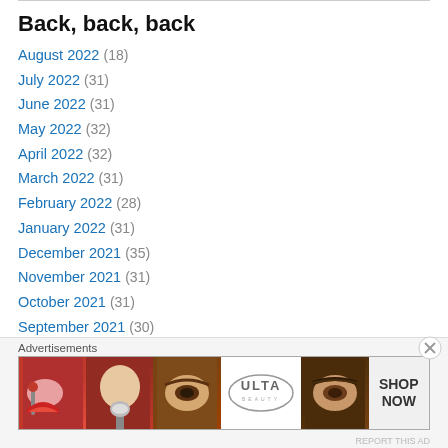Back, back, back
August 2022 (18)
July 2022 (31)
June 2022 (31)
May 2022 (32)
April 2022 (32)
March 2022 (31)
February 2022 (28)
January 2022 (31)
December 2021 (35)
November 2021 (31)
October 2021 (31)
September 2021 (30)
August 2021 (31)
Advertisements
[Figure (illustration): Ulta Beauty advertisement banner with makeup images and SHOP NOW call to action]